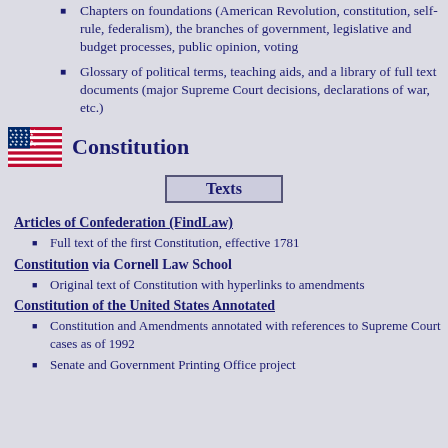Chapters on foundations (American Revolution, constitution, self-rule, federalism), the branches of government, legislative and budget processes, public opinion, voting
Glossary of political terms, teaching aids, and a library of full text documents (major Supreme Court decisions, declarations of war, etc.)
Constitution
[Figure (other): Texts button with box border]
Articles of Confederation (FindLaw)
Full text of the first Constitution, effective 1781
Constitution via Cornell Law School
Original text of Constitution with hyperlinks to amendments
Constitution of the United States Annotated
Constitution and Amendments annotated with references to Supreme Court cases as of 1992
Senate and Government Printing Office project